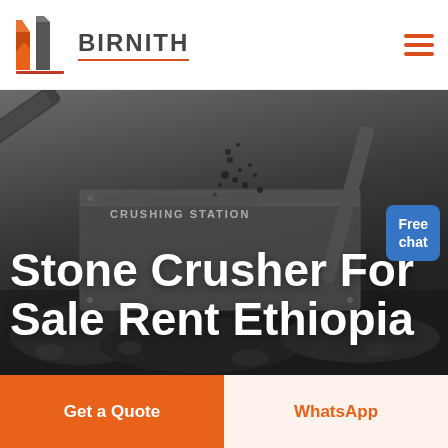[Figure (logo): Birnith company logo with orange building/construction icon and brand name BIRNITH with red underline, and hamburger menu icon on the right]
[Figure (photo): Background photo of a stone crushing station with industrial machinery, conveyor belts, and crushed stone/rock pile on ground, dark desaturated tones]
Stone Crusher For Sale Rent Ethiopia
Free chat
Get a Quote
WhatsApp